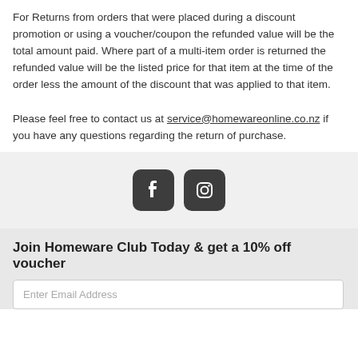For Returns from orders that were placed during a discount promotion or using a voucher/coupon the refunded value will be the total amount paid. Where part of a multi-item order is returned the refunded value will be the listed price for that item at the time of the order less the amount of the discount that was applied to that item.
Please feel free to contact us at service@homewareonline.co.nz if you have any questions regarding the return of purchase.
[Figure (other): Social media icons: Facebook and Instagram rounded square icons in dark gray]
Join Homeware Club Today & get a 10% off voucher
Enter Email Address